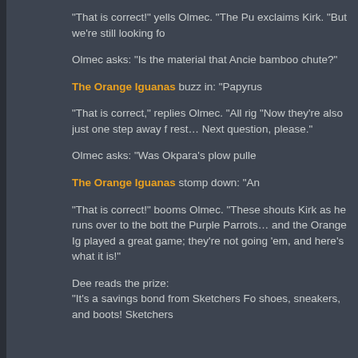“That is correct!” yells Olmec. “The Pu… exclaims Kirk. “But we’re still looking fo…
Olmec asks: “Is the material that Ancie… bamboo chute?”
The Orange Iguanas buzz in: “Papyrus…
“That is correct,” replies Olmec. “All rig… “Now they’re also just one step away f… rest… Next question, please.”
Olmec asks: “Was Okpara’s plow pulle…
The Orange Iguanas stomp down: “An…
“That is correct!” booms Olmec. “These… shouts Kirk as he runs over to the bott… the Purple Parrots… and the Orange Ig… played a great game; they’re not going… ’em, and here’s what it is!”
Dee reads the prize:
“It’s a savings bond from Sketchers Fo… shoes, sneakers, and boots! Sketchers…